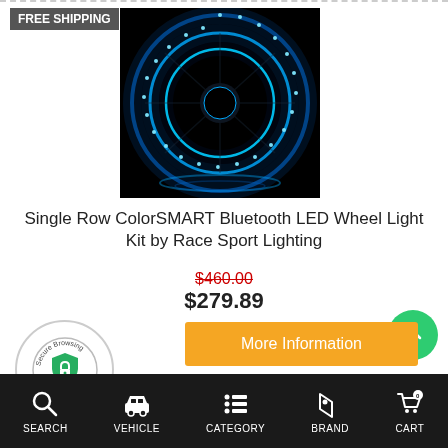FREE SHIPPING
[Figure (photo): Blue LED wheel light rings glowing on dark background, showing circular LED strip lights on a vehicle wheel]
Single Row ColorSMART Bluetooth LED Wheel Light Kit by Race Sport Lighting
$460.00 (strikethrough) $279.89
More Information
[Figure (illustration): Secure Browsing badge with green shield lock icon and date 8/22/2022]
SEARCH | VEHICLE | CATEGORY | BRAND | CART